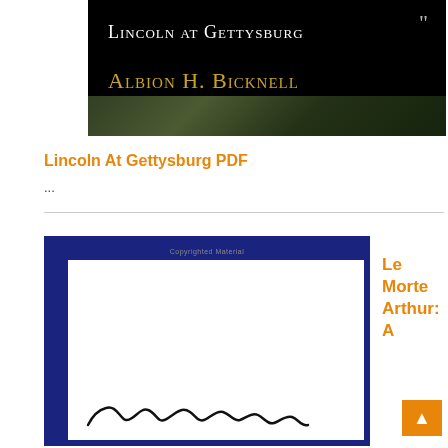[Figure (photo): Book cover for 'Lincoln at Gettysburg' by Albion H. Bicknell. Black background with white small-caps title text 'Lincoln at Gettysburg', gold small-caps author name 'Albion H. Bicknell', decorative floral/nature image strip at the bottom, and a small quotation mark graphic at the top right.]
Lincoln At Gettysburg PDF
...
[Figure (photo): Book cover for 'Le Morte Arthur' shown with a dark navy blue border/frame. White interior with 'Copyrighted Material' text at the top center and handwritten cursive script text at the bottom reading 'Le Morte Arthur'.]
Le Morte Arthur: A